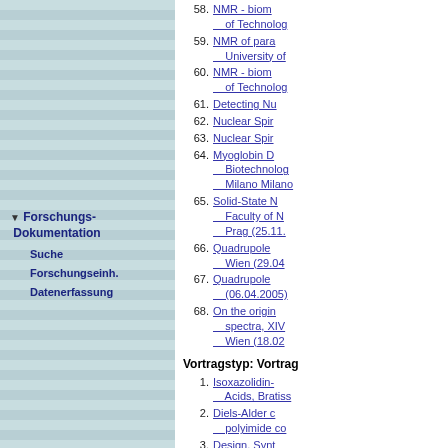58. NMR - biom... of Technolog...
59. NMR of para... University of...
60. NMR - biom... of Technolog...
61. Detecting Nu...
62. Nuclear Spir...
63. Nuclear Spir...
64. Myoglobin D... Biotechnology... Milano Milano...
65. Solid-State N... Faculty of N... Prag (25.11....
66. Quadrupole ... Wien (29.04...
67. Quadrupole ... (06.04.2005)
68. On the origin... spectra, XIV... Wien (18.02...
Vortragstyp: Vortrag
1. Isoxazolidin-... Acids, Bratiss...
2. Diels-Alder c... polyimide co...
3. Design, Synt... Ammonium S...
4. Towards 2D ... (12.03.2020)
5. Synthesis of...
6. (Thio)Urea O... Fixation with...
7. Isoxazolidin-...
Forschungs-Dokumentation
Suche
Forschungseinh.
Datenerfassung